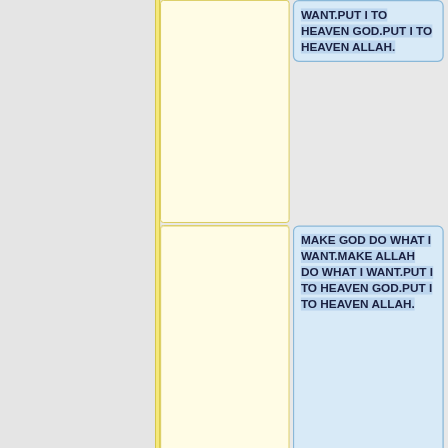[Figure (flowchart): A partial view of a flowchart/tree structure showing a vertical yellow divider line on the left, center column with empty yellow boxes and a section label '== Other Cities ==', and right column with blue highlighted text boxes containing repeated text: 'MAKE GOD DO WHAT I WANT.MAKE ALLAH DO WHAT I WANT.PUT I TO HEAVEN GOD.PUT I TO HEAVEN ALLAH.' with minus and plus connector symbols.]